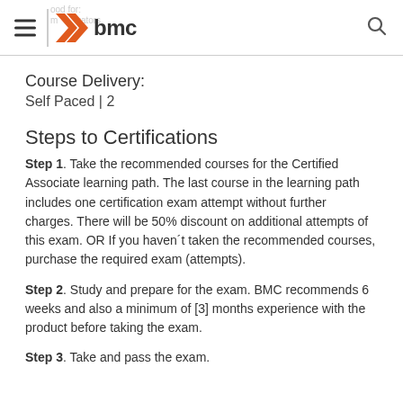BMC logo header with hamburger menu and search icon
Course Delivery:
Self Paced | 2
Steps to Certifications
Step 1.  Take the recommended courses for the Certified Associate learning path. The last course in the learning path includes one certification exam attempt without further charges. There will be 50% discount on additional attempts of this exam. OR If you haven´t taken the recommended courses, purchase the required exam (attempts).
Step 2.  Study and prepare for the exam. BMC recommends 6 weeks and also a minimum of [3] months experience with the product before taking the exam.
Step 3.  Take and pass the exam.